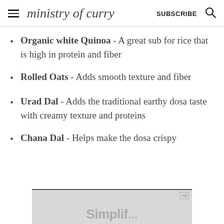ministry of curry  SUBSCRIBE
Organic white Quinoa - A great sub for rice that is high in protein and fiber
Rolled Oats - Adds smooth texture and fiber
Urad Dal - Adds the traditional earthy dosa taste with creamy texture and proteins
Chana Dal - Helps make the dosa crispy
[Figure (other): Advertisement banner at the bottom of the page with gray background and partial text visible]